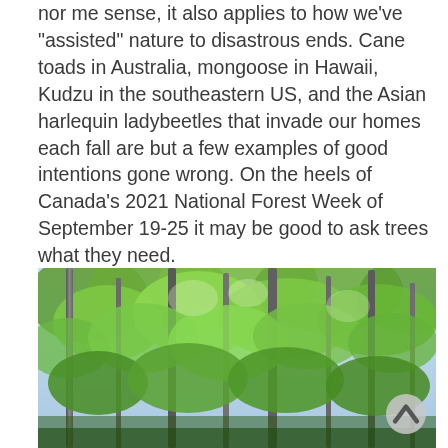nor me sense, it also applies to how we've "assisted" nature to disastrous ends. Cane toads in Australia, mongoose in Hawaii, Kudzu in the southeastern US, and the Asian harlequin ladybeetles that invade our homes each fall are but a few examples of good intentions gone wrong. On the heels of Canada's 2021 National Forest Week of September 19-25 it may be good to ask trees what they need.
[Figure (photo): Forest canopy photo showing tall trees with green foliage viewed from below, with light filtering through the leaves against a bright sky.]